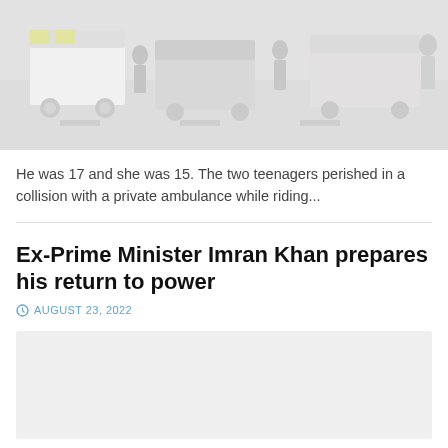[Figure (photo): Street scene with police/emergency vehicles and people, washed out/faded appearance]
He was 17 and she was 15. The two teenagers perished in a collision with a private ambulance while riding...
Ex-Prime Minister Imran Khan prepares his return to power
AUGUST 23, 2022
[Figure (photo): Light grey placeholder image for article]